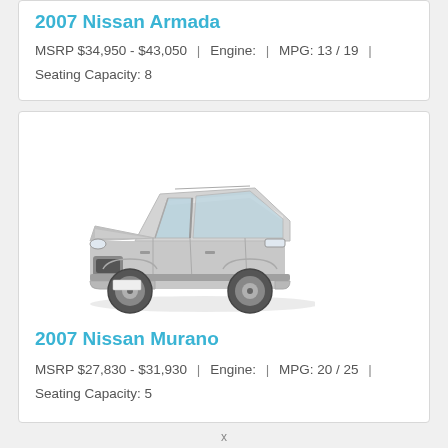2007 Nissan Armada
MSRP $34,950 - $43,050 | Engine: | MPG: 13 / 19 | Seating Capacity: 8
[Figure (photo): Photo of a 2007 Nissan Murano, silver/white SUV, front three-quarter view]
2007 Nissan Murano
MSRP $27,830 - $31,930 | Engine: | MPG: 20 / 25 | Seating Capacity: 5